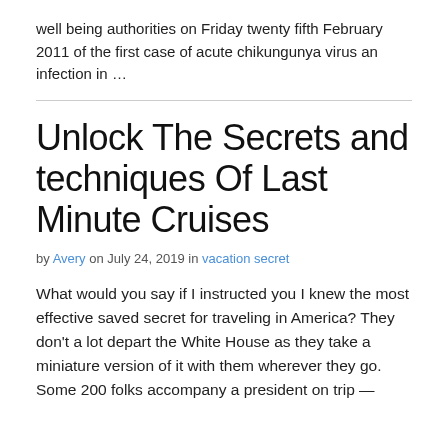well being authorities on Friday twenty fifth February 2011 of the first case of acute chikungunya virus an infection in …
Unlock The Secrets and techniques Of Last Minute Cruises
by Avery on July 24, 2019 in vacation secret
What would you say if I instructed you I knew the most effective saved secret for traveling in America? They don't a lot depart the White House as they take a miniature version of it with them wherever they go. Some 200 folks accompany a president on trip —